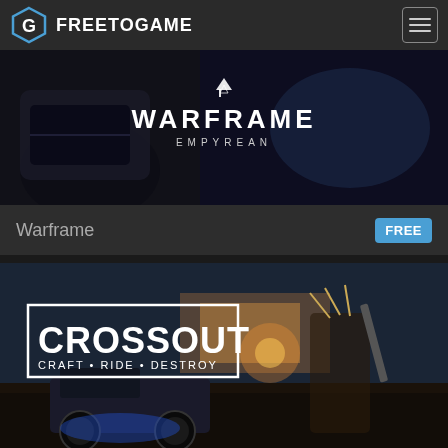FREETOGAME
[Figure (screenshot): Warframe Empyrean game banner showing a character in a spacecraft cockpit with the Warframe logo and 'EMPYREAN' subtitle]
Warframe  FREE
[Figure (screenshot): Crossout game banner showing a post-apocalyptic warrior with weapon standing in front of an armored monster truck, with logo reading 'CROSSOUT CRAFT • RIDE • DESTROY']